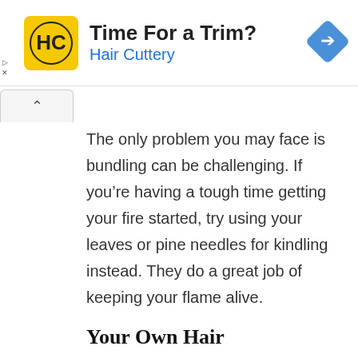[Figure (other): Hair Cuttery advertisement banner with yellow square HC logo, text 'Time For a Trim?' and 'Hair Cuttery' in blue, and a blue diamond navigation arrow icon on the right.]
The only problem you may face is bundling can be challenging. If you’re having a tough time getting your fire started, try using your leaves or pine needles for kindling instead. They do a great job of keeping your flame alive.
Your Own Hair
If you’ve ever singed your own hair with a lighter or match, then you know just how awful the smell is. Unpleasant smells aside, your own